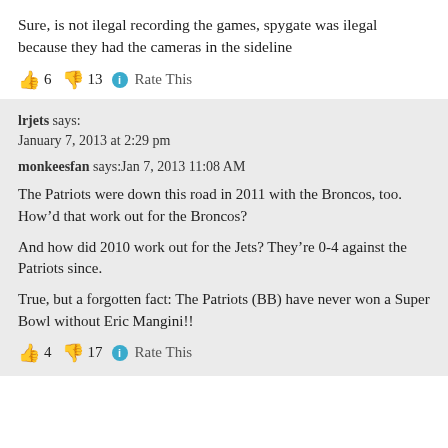Sure, is not ilegal recording the games, spygate was ilegal because they had the cameras in the sideline
👍 6 👎 13 ℹ Rate This
lrjets says:
January 7, 2013 at 2:29 pm
monkeesfan says:Jan 7, 2013 11:08 AM
The Patriots were down this road in 2011 with the Broncos, too. How'd that work out for the Broncos?
And how did 2010 work out for the Jets? They're 0-4 against the Patriots since.
True, but a forgotten fact: The Patriots (BB) have never won a Super Bowl without Eric Mangini!!
👍 4 👎 17 ℹ Rate This